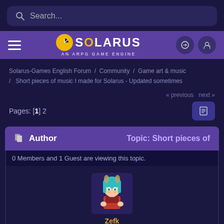Search...
[Figure (logo): Solarus - An ARPG Game Engine logo with hamburger menu, login and user icons]
Solarus-Games English Forum / Community / Game art & music / Short pieces of music I made for Solarus - Updated sometimes
« previous  next »
Pages: [1] 2
Author   Topic: Short pieces of
0 Members and 1 Guest are viewing this topic.
[Figure (illustration): Avatar image of user Zefk - anime-style character with teal hair]
Zefk